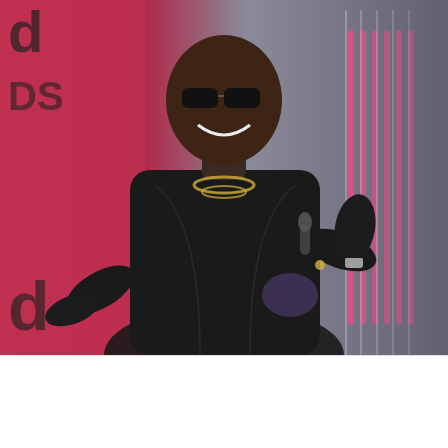[Figure (photo): A man in a black leather jacket wearing sunglasses and chain necklaces, performing or presenting on stage with a pink/red backdrop and vertical neon light strips visible in the background.]
MUSIC
Diddy I Dead"
Where small leads become big stories. the by-line project. learn more
[Figure (logo): R&Bts logo with X marks]